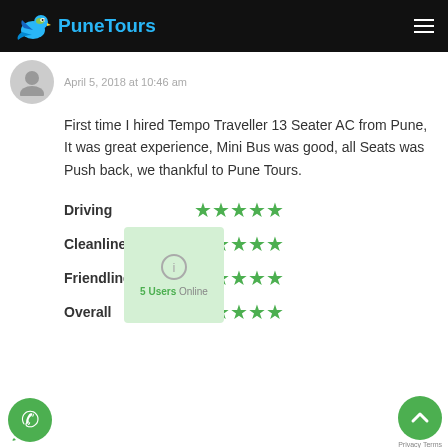PuneTours
April 5, 2018 at 10:46 am
First time I hired Tempo Traveller 13 Seater AC from Pune,
It was great experience, Mini Bus was good, all Seats was Push back, we thankful to Pune Tours.
Driving ★★★★★
Cleanliness ★★★★★
Friendliness ★★★★★
Overall ★★★★★